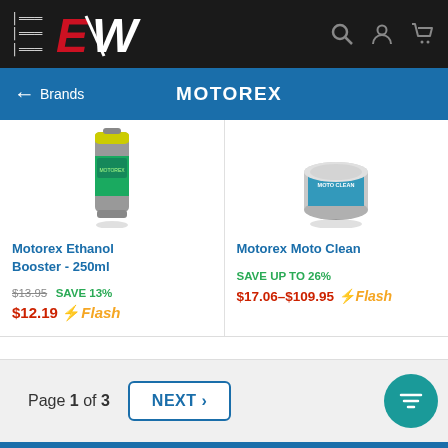[Figure (screenshot): Mobile e-commerce navigation bar with hamburger menu, EW logo in red and white, search icon, account icon, and shopping cart icon on dark background]
← Brands    MOTOREX
[Figure (photo): Motorex Ethanol Booster 250ml product - green and silver spray can]
Motorex Ethanol Booster - 250ml
$13.95  SAVE 13%
$12.19 ⚡Flash
[Figure (photo): Motorex Moto Clean product - silver round container with blue label]
Motorex Moto Clean
SAVE UP TO 26%
$17.06–$109.95 ⚡Flash
Page 1 of 3
NEXT >